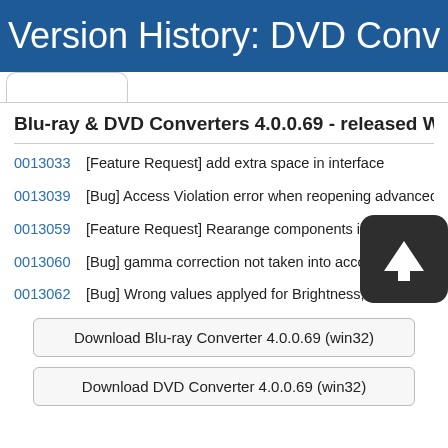Version History: DVD Conv…
Blu-ray & DVD Converters 4.0.0.69 - released We…
0013033  [Feature Request] add extra space in interface
0013039  [Bug] Access Violation error when reopening advanced editor with…
0013059  [Feature Request] Rearange components in video e… d r…
0013060  [Bug] gamma correction not taken into account
0013062  [Bug] Wrong values applyed for Brightness, contrast, saturation a…
Download Blu-ray Converter 4.0.0.69 (win32)
Download DVD Converter 4.0.0.69 (win32)